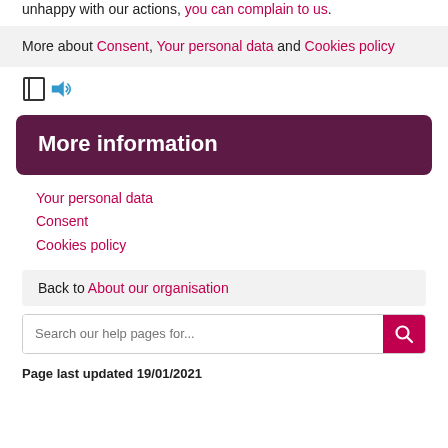unhappy with our actions, you can complain to us.
More about Consent, Your personal data and Cookies policy
[Figure (illustration): Book and audio/sound icon for listen functionality]
More information
Your personal data
Consent
Cookies policy
Back to About our organisation
Search our help pages for...
Page last updated 19/01/2021